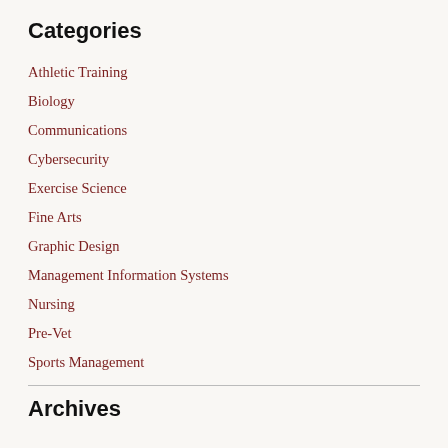Categories
Athletic Training
Biology
Communications
Cybersecurity
Exercise Science
Fine Arts
Graphic Design
Management Information Systems
Nursing
Pre-Vet
Sports Management
Archives